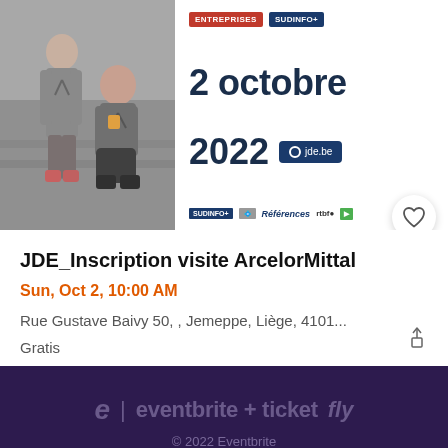[Figure (photo): Event banner showing two people in grey aprons on the left side, and on the right: red ENTREPRISES badge, blue SUDINFO+ badge, large text '2 octobre 2022' with jde.be button, and media partner logos (sudinfo, references, rtbf, etc.)]
JDE_Inscription visite ArcelorMittal
Sun, Oct 2, 10:00 AM
Rue Gustave Baivy 50, , Jemeppe, Liège, 4101...
Gratis
eventbrite + ticketfly
© 2022 Eventbrite